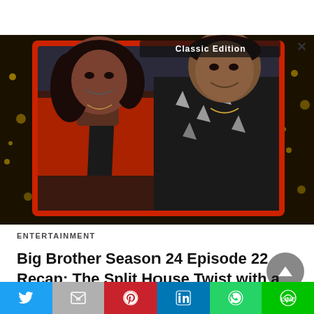[Figure (photo): Two people smiling on a TV show set — a woman in a red blazer over a dark top and a man in a floral black and white shirt, framed by a red digital frame border on a dark sparkly background. Partial text overlay at top reads 'Classic Edition'.]
ENTERTAINMENT
Big Brother Season 24 Episode 22 Recap: The Split House Twist with a Double Shock